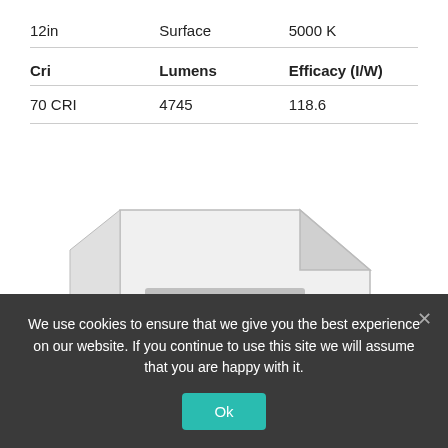| 12in | Surface | 5000 K |
| Cri | Lumens | Efficacy (I/W) |
| 70 CRI | 4745 | 118.6 |
[Figure (illustration): Illustration of a document/file icon with a red PDF badge overlaid on top, partially cropped at the bottom of the visible area.]
We use cookies to ensure that we give you the best experience on our website. If you continue to use this site we will assume that you are happy with it.